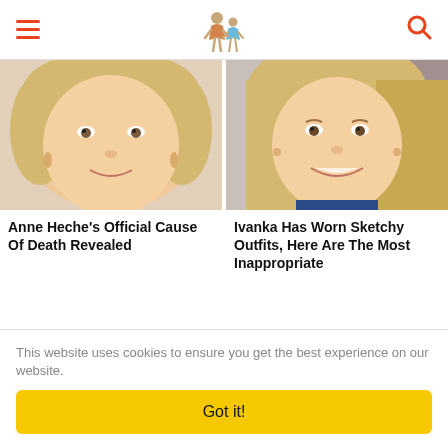Navigation header with hamburger menu, logo, and search icon
[Figure (photo): Close-up photo of Anne Heche, blonde woman smiling]
Anne Heche's Official Cause Of Death Revealed
[Figure (photo): Close-up photo of Ivanka Trump, blonde woman smiling]
Ivanka Has Worn Sketchy Outfits, Here Are The Most Inappropriate
[Figure (photo): Close-up photo of a blonde woman, partially visible]
[Figure (photo): Close-up photo of a man with dark hair, partially visible]
This website uses cookies to ensure you get the best experience on our website.
Got it!